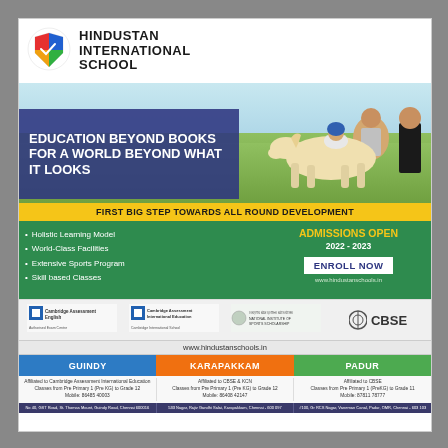[Figure (logo): Hindustan International School logo - circular emblem with colorful globe/shield design]
HINDUSTAN INTERNATIONAL SCHOOL
[Figure (photo): Child on horseback with trainer on green field background]
EDUCATION BEYOND BOOKS FOR A WORLD BEYOND WHAT IT LOOKS
FIRST BIG STEP TOWARDS ALL ROUND DEVELOPMENT
Holistic Learning Model
World-Class Facilities
Extensive Sports Program
Skill based Classes
ADMISSIONS OPEN 2022 - 2023
ENROLL NOW
www.hindustanschools.in
[Figure (logo): Cambridge Assessment English - Authorised Exam Centre logo]
[Figure (logo): Cambridge Assessment International Education - Cambridge International School logo]
[Figure (logo): National Institute of Sports Scholarship logo]
[Figure (logo): CBSE logo]
www.hindustanschools.in
GUINDY
KARAPAKKAM
PADUR
Affiliated to Cambridge Assessment International Education
Classes from Pre Primary 1 (Pre KG) to Grade 12
Mobile: 86485 40003
Affiliated to CBSE & KCN
Classes from Pre Primary 1 (Pre KG) to Grade 12
Mobile: 86408 42147
Affiliated to CBSE
Classes from Pre Primary 1 (PreKG) to Grade 11
Mobile: 87811 78777
No 40, GST Road, St. Thomas Mount, Guindy Road, Chennai 600016   533 Nagar, Rajiv Gandhi Salai, Karapakkam, Chennai - 600 097   #100, Gr RCS Nagar, Vaneman Canal, Padur, OMR, Chennai - 603 103